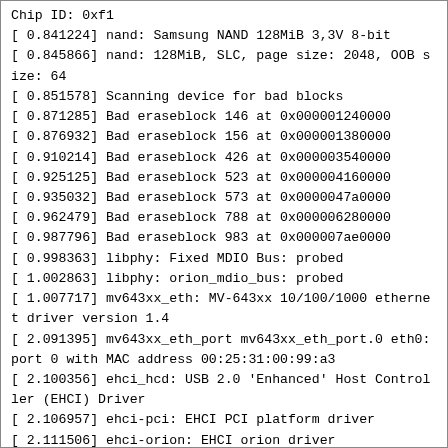Chip ID: 0xf1
[ 0.841224] nand: Samsung NAND 128MiB 3,3V 8-bit
[ 0.845866] nand: 128MiB, SLC, page size: 2048, OOB size: 64
[ 0.851578] Scanning device for bad blocks
[ 0.871285] Bad eraseblock 146 at 0x000001240000
[ 0.876932] Bad eraseblock 156 at 0x000001380000
[ 0.910214] Bad eraseblock 426 at 0x000003540000
[ 0.925125] Bad eraseblock 523 at 0x000004160000
[ 0.935032] Bad eraseblock 573 at 0x0000047a0000
[ 0.962479] Bad eraseblock 788 at 0x000006280000
[ 0.987796] Bad eraseblock 983 at 0x000007ae0000
[ 0.998363] libphy: Fixed MDIO Bus: probed
[ 1.002863] libphy: orion_mdio_bus: probed
[ 1.007717] mv643xx_eth: MV-643xx 10/100/1000 ethernet driver version 1.4
[ 2.091395] mv643xx_eth_port mv643xx_eth_port.0 eth0: port 0 with MAC address 00:25:31:00:99:a3
[ 2.100356] ehci_hcd: USB 2.0 'Enhanced' Host Controller (EHCI) Driver
[ 2.106957] ehci-pci: EHCI PCI platform driver
[ 2.111506] ehci-orion: EHCI orion driver
[ 2.115712] orion-ehci f1050000.ehci: EHCI Host Controller
[ 2.121283] orion-ehci f1050000.ehci: new USB bus registered, assigned bus number 1